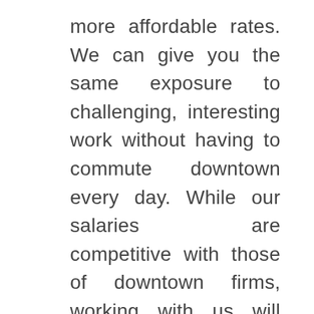more affordable rates. We can give you the same exposure to challenging, interesting work without having to commute downtown every day. While our salaries are competitive with those of downtown firms, working with us will also save you valuable time and the transportation costs. Just imagine all the extra time you will have when you lose the commute!
We offer a comprehensive benefits package including extended health and para-medical coverage such as massage, physiotherapists,